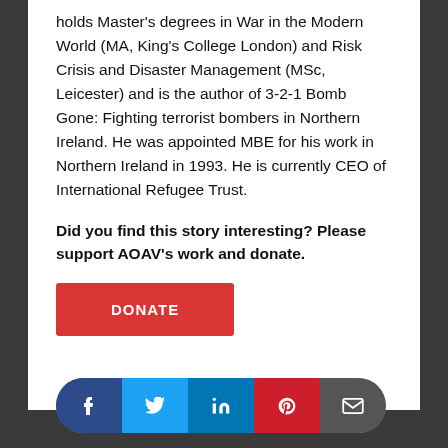holds Master's degrees in War in the Modern World (MA, King's College London) and Risk Crisis and Disaster Management (MSc, Leicester) and is the author of 3-2-1 Bomb Gone: Fighting terrorist bombers in Northern Ireland. He was appointed MBE for his work in Northern Ireland in 1993. He is currently CEO of International Refugee Trust.
Did you find this story interesting? Please support AOAV's work and donate.
[Figure (other): Red donate button with white text reading DONATE]
[Figure (other): Social sharing bar with Facebook, Twitter, LinkedIn, Pinterest, and email icons]